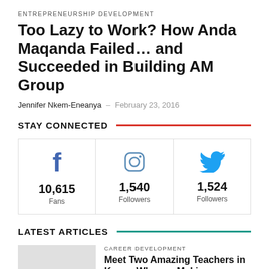ENTREPRENEURSHIP DEVELOPMENT
Too Lazy to Work? How Anda Maqanda Failed… and Succeeded in Building AM Group
Jennifer Nkem-Eneanya  –  February 23, 2016
STAY CONNECTED
[Figure (infographic): Three social media follower counts: Facebook 10,615 Fans; Instagram 1,540 Followers; Twitter 1,524 Followers]
LATEST ARTICLES
CAREER DEVELOPMENT
Meet Two Amazing Teachers in Kenya Who are Making a Difference